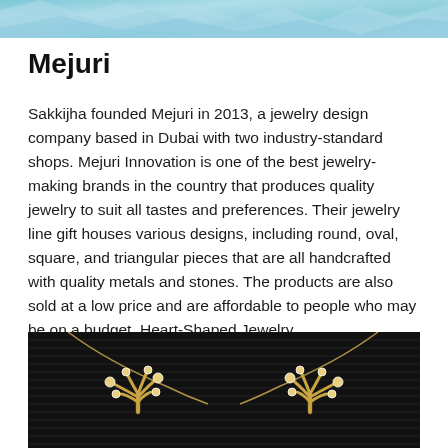[Figure (photo): Decorative top banner image with teal/blue water or crystalline texture]
Mejuri
Sakkijha founded Mejuri in 2013, a jewelry design company based in Dubai with two industry-standard shops. Mejuri Innovation is one of the best jewelry-making brands in the country that produces quality jewelry to suit all tastes and preferences. Their jewelry line gift houses various designs, including round, oval, square, and triangular pieces that are all handcrafted with quality metals and stones. The products are also sold at a low price and are affordable to people who may be on a budget. Heart-Shaped Jewelry
[Figure (photo): Gold tree-shaped necklace pendant with diamond/crystal accents on a dark ribbed background]